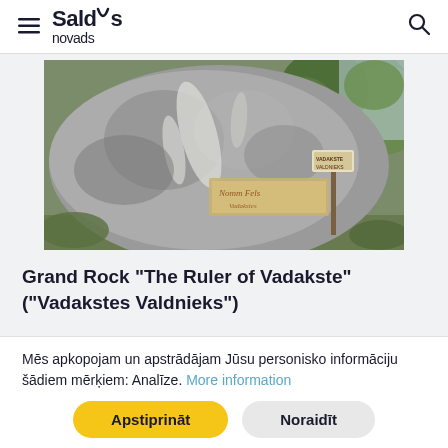Saldus novads
[Figure (photo): Large granite boulder known as the Grand Rock 'The Ruler of Vadakste' in a forested setting with a small sign on a post in front of it and a decorative board leaning against it.]
Grand Rock "The Ruler of Vadakste" ("Vadakstes Valdnieks")
Mēs apkopojam un apstrādājam Jūsu personisko informāciju šādiem mērķiem: Analīze. More information
Apstiprināt
Noraidīt